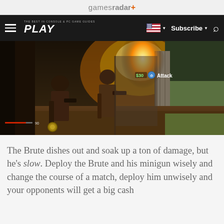gamesradar+
[Figure (screenshot): Website navigation bar with hamburger menu, PLAY magazine logo, US flag dropdown, Subscribe button, and search icon on dark background]
[Figure (screenshot): Video game screenshot showing combat scene with characters near burning building, HUD elements including health bar showing 90 and Attack prompt with $30 cost]
The Brute dishes out and soak up a ton of damage, but he's slow. Deploy the Brute and his minigun wisely and change the course of a match, deploy him unwisely and your opponents will get a big cash